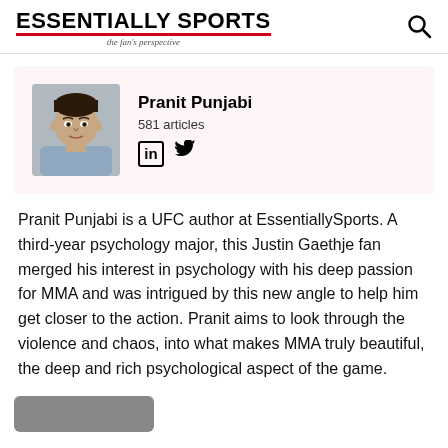ESSENTIALLY SPORTS — the fan's perspective
[Figure (photo): Profile photo of Pranit Punjabi, a young man in a light blue shirt against a white background]
Pranit Punjabi
581 articles
Pranit Punjabi is a UFC author at EssentiallySports. A third-year psychology major, this Justin Gaethje fan merged his interest in psychology with his deep passion for MMA and was intrigued by this new angle to help him get closer to the action. Pranit aims to look through the violence and chaos, into what makes MMA truly beautiful, the deep and rich psychological aspect of the game.